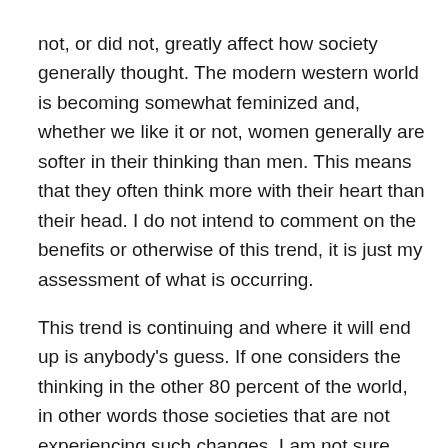not, or did not, greatly affect how society generally thought. The modern western world is becoming somewhat feminized and, whether we like it or not, women generally are softer in their thinking than men. This means that they often think more with their heart than their head. I do not intend to comment on the benefits or otherwise of this trend, it is just my assessment of what is occurring.

This trend is continuing and where it will end up is anybody's guess. If one considers the thinking in the other 80 percent of the world, in other words those societies that are not experiencing such changes, I am not sure that this trend would be welcomed. One of the major bones of contention between some religions, societies and countries around the world revolve around the relationships, positions and power between men and